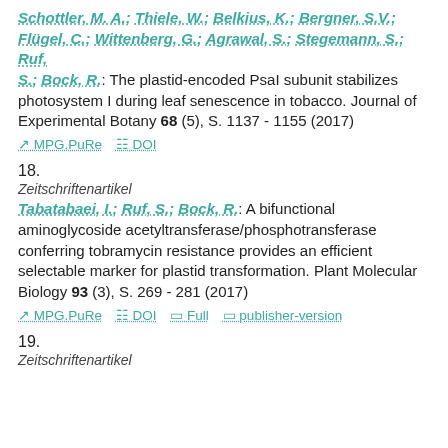Schottler, M. A.; Thiele, W.; Belkius, K.; Bergner, S.V.; Flügel, C.; Wittenberg, G.; Agrawal, S.; Stegemann, S.; Ruf, S.; Bock, R.: The plastid-encoded PsaI subunit stabilizes photosystem I during leaf senescence in tobacco. Journal of Experimental Botany 68 (5), S. 1137 - 1155 (2017)
MPG.PuRe   DOI
18.
Zeitschriftenartikel
Tabatabaei, I.; Ruf, S.; Bock, R.: A bifunctional aminoglycoside acetyltransferase/phosphotransferase conferring tobramycin resistance provides an efficient selectable marker for plastid transformation. Plant Molecular Biology 93 (3), S. 269 - 281 (2017)
MPG.PuRe   DOI   Full   publisher-version
19.
Zeitschriftenartikel